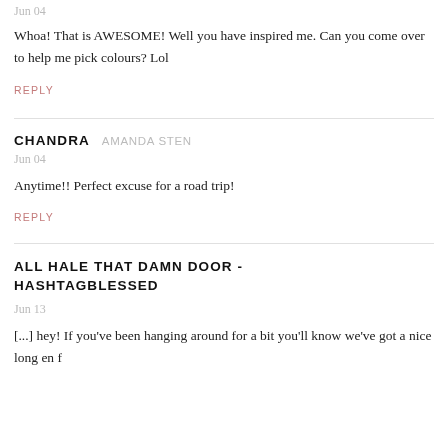Jun 04
Whoa! That is AWESOME! Well you have inspired me. Can you come over to help me pick colours? Lol
REPLY
CHANDRA    AMANDA STEN
Jun 04
Anytime!! Perfect excuse for a road trip!
REPLY
ALL HALE THAT DAMN DOOR - HASHTAGBLESSED
Jun 13
[...] hey! If you've been hanging around for a bit you'll know we've got a nice long en f